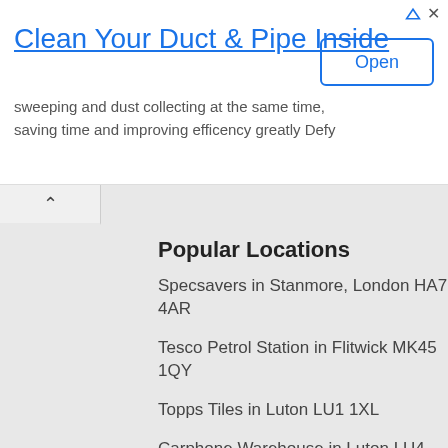[Figure (screenshot): Advertisement banner with title 'Clean Your Duct & Pipe Inside', subtitle text, and an 'Open' button]
Popular Locations
Specsavers in Stanmore, London HA7 4AR
Tesco Petrol Station in Flitwick MK45 1QY
Topps Tiles in Luton LU1 1XL
Carphone Warehouse in Luton LU4 8QN
Costcutter in Tottenham, London N17 0EZ
Costcutter in Hendon, London NW4 4BD
USC in Luton LU4 8DN